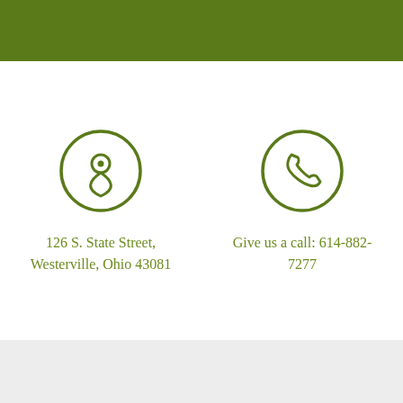[Figure (illustration): Green header bar]
[Figure (illustration): Green circle with map pin / location icon]
[Figure (illustration): Green circle with telephone / phone icon]
126 S. State Street, Westerville, Ohio 43081
Give us a call: 614-882-7277
[Figure (illustration): Green circle with clock icon]